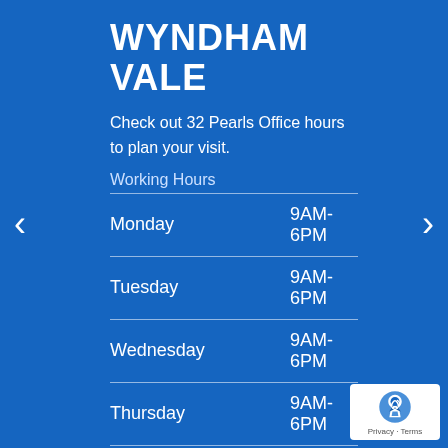WYNDHAM VALE
Check out 32 Pearls Office hours to plan your visit.
Working Hours
| Day | Hours |
| --- | --- |
| Monday | 9AM-6PM |
| Tuesday | 9AM-6PM |
| Wednesday | 9AM-6PM |
| Thursday | 9AM-6PM |
| Friday | 9AM-6PM |